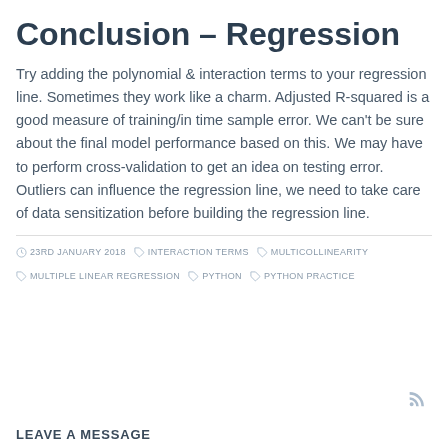Conclusion – Regression
Try adding the polynomial & interaction terms to your regression line. Sometimes they work like a charm. Adjusted R-squared is a good measure of training/in time sample error. We can't be sure about the final model performance based on this. We may have to perform cross-validation to get an idea on testing error. Outliers can influence the regression line, we need to take care of data sensitization before building the regression line.
23RD JANUARY 2018  INTERACTION TERMS  MULTICOLLINEARITY  MULTIPLE LINEAR REGRESSION  PYTHON  PYTHON PRACTICE
LEAVE A MESSAGE